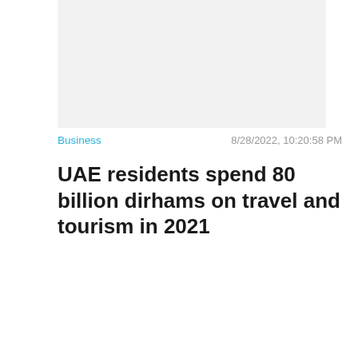[Figure (photo): Light gray placeholder image area at the top of the page]
Business   8/28/2022, 10:20:58 PM
UAE residents spend 80 billion dirhams on travel and tourism in 2021